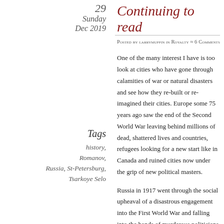29
Sunday
Dec 2019
Continuing to read
Posted by larrymuffin in Royalty   ≈ 6 Comments
Tags
history,
Romanov,
Russia, St-Petersburg,
Tsarkoye Selo
One of the many interest I have is too look at cities who have gone through calamities of war or natural disasters and see how they re-built or re-imagined their cities. Europe some 75 years ago saw the end of the Second World War leaving behind millions of dead, shattered lives and countries, refugees looking for a new start like in Canada and ruined cities now under the grip of new political masters.
Russia in 1917 went through the social upheaval of a disastrous engagement into the First World War and falling into the hands of murderous politicians who in 70 years of rule manage to kill 40 million of its own citizens through repression. A way of life was scrubbed out completely. Since 1990 and the ascent